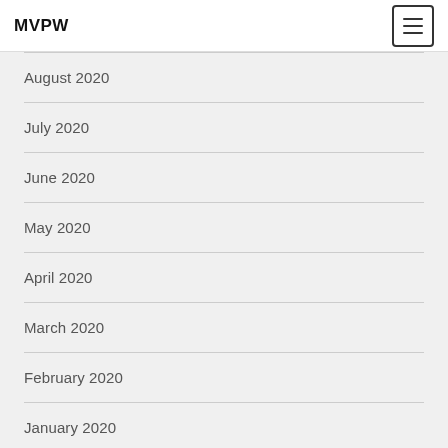MVPW
August 2020
July 2020
June 2020
May 2020
April 2020
March 2020
February 2020
January 2020
December 2019
November 2019